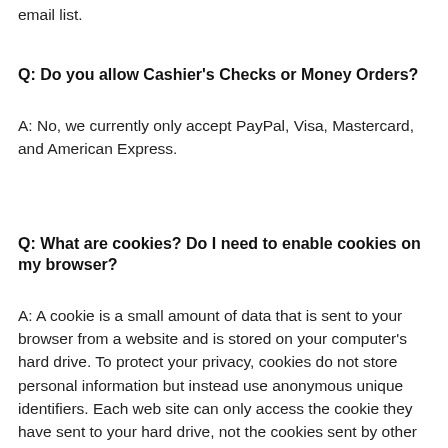email list.
Q: Do you allow Cashier's Checks or Money Orders?
A: No, we currently only accept PayPal, Visa, Mastercard, and American Express.
Q: What are cookies? Do I need to enable cookies on my browser?
A: A cookie is a small amount of data that is sent to your browser from a website and is stored on your computer's hard drive. To protect your privacy, cookies do not store personal information but instead use anonymous unique identifiers. Each web site can only access the cookie they have sent to your hard drive, not the cookies sent by other